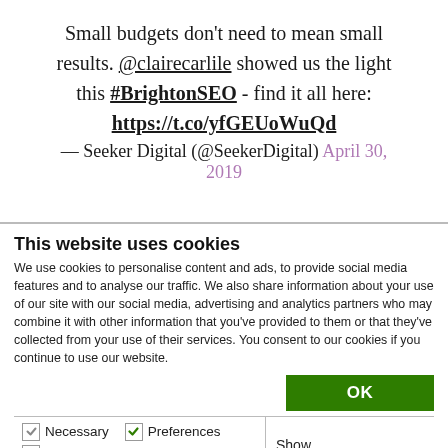Small budgets don't need to mean small results. @clairecarlile showed us the light this #BrightonSEO - find it all here: https://t.co/yfGEUoWuQd — Seeker Digital (@SeekerDigital) April 30, 2019
This website uses cookies
We use cookies to personalise content and ads, to provide social media features and to analyse our traffic. We also share information about your use of our site with our social media, advertising and analytics partners who may combine it with other information that you've provided to them or that they've collected from your use of their services. You consent to our cookies if you continue to use our website.
OK
Necessary  Preferences  Statistics  Marketing  Show details